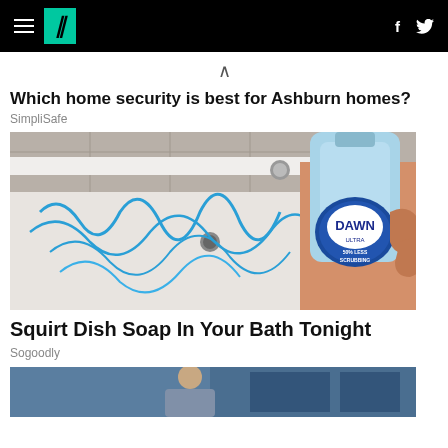HuffPost navigation bar with hamburger menu, logo, Facebook and Twitter icons
Which home security is best for Ashburn homes?
SimpliSafe
[Figure (photo): Photo of a bathtub with blue Dawn Ultra dish soap being squirted in swirling patterns, hand holding the bottle visible on the right]
Squirt Dish Soap In Your Bath Tonight
Sogoodly
[Figure (photo): Partial photo at bottom of page, appears to show a person]